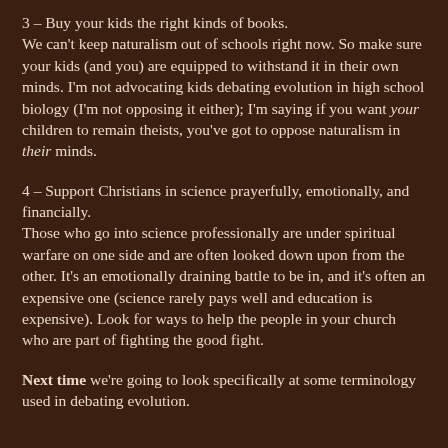3 – Buy your kids the right kinds of books.
We can't keep naturalism out of schools right now. So make sure your kids (and you) are equipped to withstand it in their own minds. I'm not advocating kids debating evolution in high school biology (I'm not opposing it either); I'm saying if you want your children to remain theists, you've got to oppose naturalism in their minds.
4 – Support Christians in science prayerfully, emotionally, and financially.
Those who go into science professionally are under spiritual warfare on one side and are often looked down upon from the other. It's an emotionally draining battle to be in, and it's often an expensive one (science rarely pays well and education is expensive). Look for ways to help the people in your church who are part of fighting the good fight.
Next time we're going to look specifically at some terminology used in debating evolution.